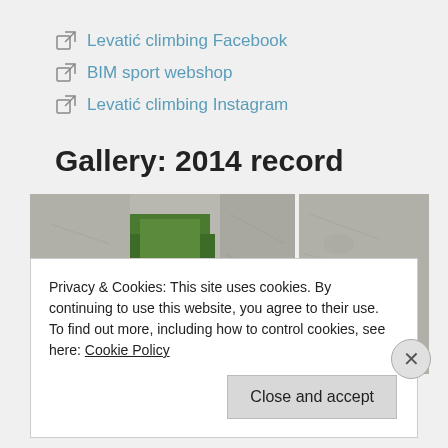Levatić climbing Facebook
BIM sport webshop
Levatić climbing Instagram
Gallery: 2014 record
[Figure (photo): Two photos of a rock climber on a gray limestone cliff face with green trees visible in the background. Left image is wider showing a hand reaching for a hold; right image is narrower showing a similar scene.]
Privacy & Cookies: This site uses cookies. By continuing to use this website, you agree to their use.
To find out more, including how to control cookies, see here: Cookie Policy
Close and accept